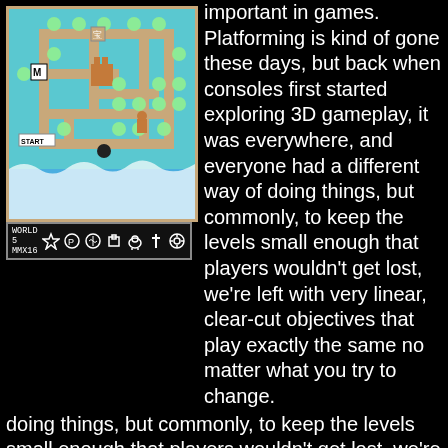[Figure (screenshot): Top-down map screenshot of a video game (Mario-style world map) showing a teal/cyan maze with paths, enemies, and icons. Below the map is a HUD bar showing 'WORLD 5 MMX16' and various item icons.]
important in games. Platforming is kind of gone these days, but back when consoles first started exploring 3D gameplay, it was everywhere, and everyone had a different way of doing things, but commonly, to keep the levels small enough that players wouldn't get lost, we're left with very linear, clear-cut objectives that play exactly the same no matter what you try to change.
This is also perhaps one of the first console games to include a throwback to another classic Nintendo game, and of course, I'm talking about the two player battle mode. For those not in the